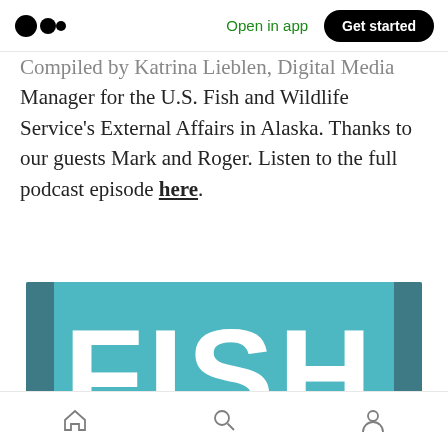Open in app | Get started
Compiled by Katrina Lieblen, Digital Media Manager for the U.S. Fish and Wildlife Service's External Affairs in Alaska. Thanks to our guests Mark and Roger. Listen to the full podcast episode here.
[Figure (illustration): Podcast artwork showing the word FISH in large white block letters with teal fill against a teal background, with a fish silhouette partially visible at the bottom. Dark teal side bars frame the image.]